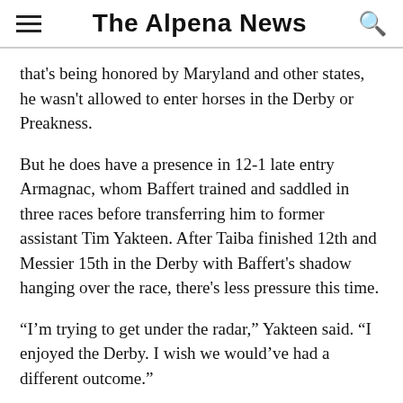The Alpena News
that's being honored by Maryland and other states, he wasn't allowed to enter horses in the Derby or Preakness.
But he does have a presence in 12-1 late entry Armagnac, whom Baffert trained and saddled in three races before transferring him to former assistant Tim Yakteen. After Taiba finished 12th and Messier 15th in the Derby with Baffert's shadow hanging over the race, there's less pressure this time.
“I’m trying to get under the radar,” Yakteen said. “I enjoyed the Derby. I wish we would’ve had a different outcome.”
Winchell, Asmusson and Epicenter jockey Joel